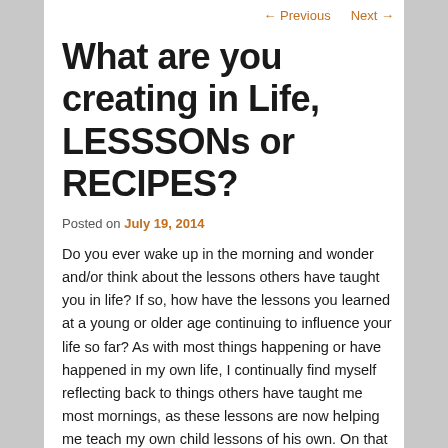← Previous   Next →
What are you creating in Life, LESSSONs or RECIPES?
Posted on July 19, 2014
Do you ever wake up in the morning and wonder and/or think about the lessons others have taught you in life? If so, how have the lessons you learned at a young or older age continuing to influence your life so far? As with most things happening or have happened in my own life, I continually find myself reflecting back to things others have taught me most mornings, as these lessons are now helping me teach my own child lessons of his own. On that note, I recently came across a book published last